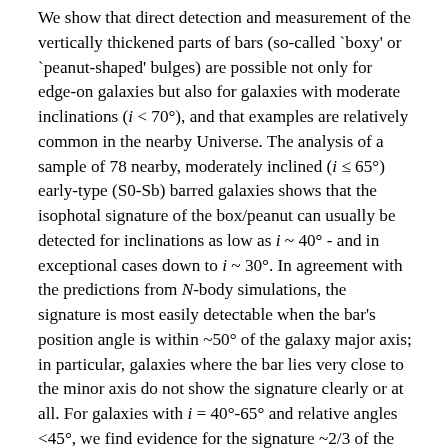We show that direct detection and measurement of the vertically thickened parts of bars (so-called `boxy' or `peanut-shaped' bulges) are possible not only for edge-on galaxies but also for galaxies with moderate inclinations (i < 70°), and that examples are relatively common in the nearby Universe. The analysis of a sample of 78 nearby, moderately inclined (i ≤ 65°) early-type (S0-Sb) barred galaxies shows that the isophotal signature of the box/peanut can usually be detected for inclinations as low as i ~ 40° - and in exceptional cases down to i ~ 30°. In agreement with the predictions from N-body simulations, the signature is most easily detectable when the bar's position angle is within ~50° of the galaxy major axis; in particular, galaxies where the bar lies very close to the minor axis do not show the signature clearly or at all. For galaxies with i = 40°-65° and relative angles <45°, we find evidence for the signature ~2/3 of the time; the true frequency of box/peanut structures in bars may be higher. Comparison with N-body models also allows us to link observed photometric morphology with 3D physical structures, and thus estimate the relative sizes of box/peanut structures and bars. For our local sample, we find that